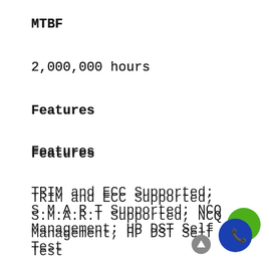MTBF
2,000,000 hours
Features
Features
TRIM and ECC Supported; S.M.A.R.T Supported; NCQ Management; HP DST Self Test
Endurance (TBW): up to 295 TBW
Environmental
Power Consumption (Idle)
5mW